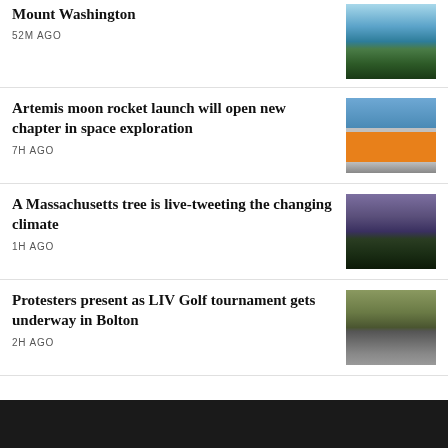Mount Washington
52M AGO
Artemis moon rocket launch will open new chapter in space exploration
7H AGO
A Massachusetts tree is live-tweeting the changing climate
1H AGO
Protesters present as LIV Golf tournament gets underway in Bolton
2H AGO